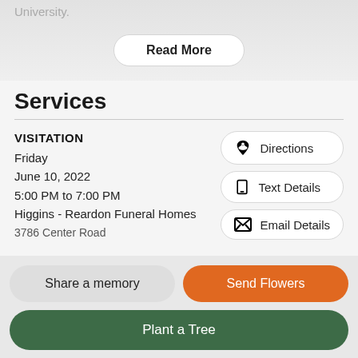University.
Read More
Services
VISITATION
Friday
June 10, 2022
5:00 PM to 7:00 PM
Higgins - Reardon Funeral Homes
3786 Center Road
Directions
Text Details
Email Details
Share a memory
Send Flowers
Plant a Tree